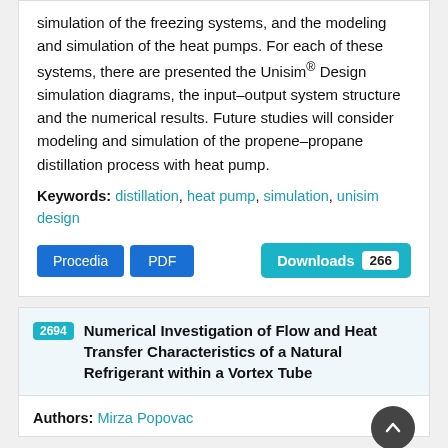simulation of the freezing systems, and the modeling and simulation of the heat pumps. For each of these systems, there are presented the Unisim® Design simulation diagrams, the input–output system structure and the numerical results. Future studies will consider modeling and simulation of the propene–propane distillation process with heat pump.
Keywords: distillation, heat pump, simulation, unisim design
Procedia  PDF  Downloads 266
2694 Numerical Investigation of Flow and Heat Transfer Characteristics of a Natural Refrigerant within a Vortex Tube
Authors: Mirza Popovac